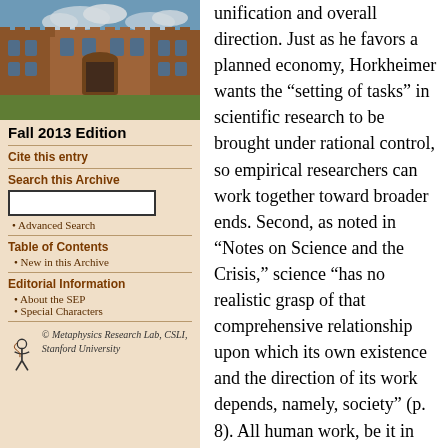[Figure (photo): Aerial/elevated view of a historic university campus building with stone architecture and courtyard, under a blue sky with clouds]
Fall 2013 Edition
Cite this entry
Search this Archive
• Advanced Search
Table of Contents
New in this Archive
Editorial Information
About the SEP
Special Characters
[Figure (logo): Metaphysics Research Lab, CSLI, Stanford University logo with stylized figure]
unification and overall direction. Just as he favors a planned economy, Horkheimer wants the “setting of tasks” in scientific research to be brought under rational control, so empirical researchers can work together toward broader ends. Second, as noted in “Notes on Science and the Crisis,” science “has no realistic grasp of that comprehensive relationship upon which its own existence and the direction of its work depends, namely, society” (p. 8). All human work, be it in the sciences or anything else, depends on a broader context which supports it, and the activities that are associated